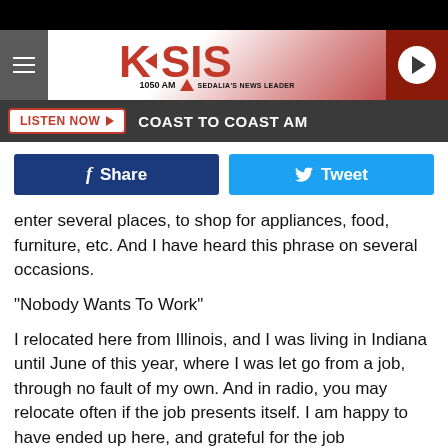[Figure (screenshot): KSIS 1050 AM radio station website header with hamburger menu, KSIS logo, and play button]
LISTEN NOW ▶   COAST TO COAST AM
[Figure (screenshot): Facebook Share and Twitter Tweet social sharing buttons]
enter several places, to shop for appliances, food, furniture, etc.  And I have heard this phrase on several occasions.
"Nobody Wants To Work"
I relocated here from Illinois, and I was living in Indiana until June of this year, where I was let go from a job, through no fault of my own.  And in radio, you may relocate often if the job presents itself.  I am happy to have ended up here, and grateful for the job opportunity.